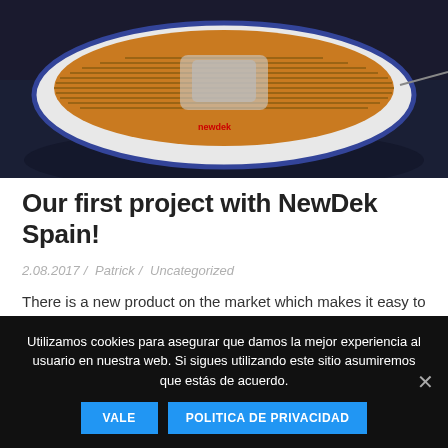[Figure (photo): Aerial view of a boat with teak wood deck pattern (orange/brown strips) surrounded by dark water, white hull with blue stripe]
Our first project with NewDek Spain!
2.08.2017 / Patrick / Uncategorized
There is a new product on the market which makes it easy to get an old deck in little time like new, with some great features and a sharp price!
NewDek is made of cell EVA foam, a high-resistance and flexible
Utilizamos cookies para asegurar que damos la mejor experiencia al usuario en nuestra web. Si sigues utilizando este sitio asumiremos que estás de acuerdo.